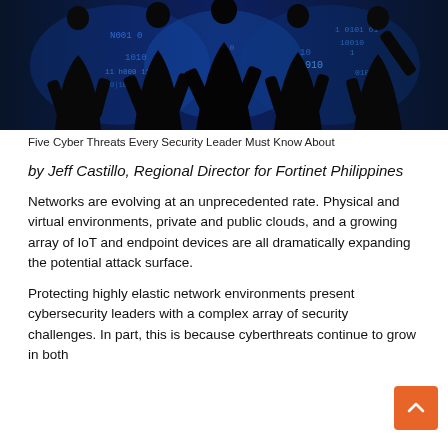[Figure (photo): Dark silhouettes of people against a blue digital binary/data background, suggesting cybersecurity theme]
Five Cyber Threats Every Security Leader Must Know About
by Jeff Castillo, Regional Director for Fortinet Philippines
Networks are evolving at an unprecedented rate. Physical and virtual environments, private and public clouds, and a growing array of IoT and endpoint devices are all dramatically expanding the potential attack surface.
Protecting highly elastic network environments present cybersecurity leaders with a complex array of security challenges. In part, this is because cyberthreats continue to grow in both